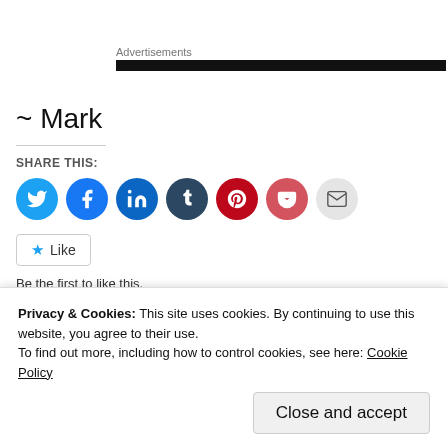Advertisements
~ Mark
SHARE THIS:
[Figure (infographic): Social sharing icons: Twitter (blue), Facebook (blue), LinkedIn (dark blue), Tumblr (dark navy), Pinterest (red), Pocket (pink/red), Email (grey)]
Like
Be the first to like this.
Privacy & Cookies: This site uses cookies. By continuing to use this website, you agree to their use.
To find out more, including how to control cookies, see here: Cookie Policy
Close and accept